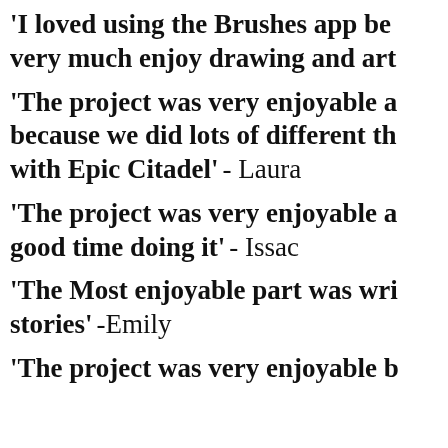'I loved using the Brushes app because I very much enjoy drawing and art'
'The project was very enjoyable and fun because we did lots of different things with Epic Citadel' - Laura
'The project was very enjoyable and I had a good time doing it' - Issac
'The Most enjoyable part was writing stories' -Emily
'The project was very enjoyable b...